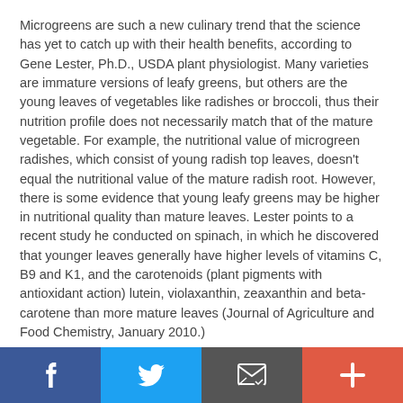Microgreens are such a new culinary trend that the science has yet to catch up with their health benefits, according to Gene Lester, Ph.D., USDA plant physiologist. Many varieties are immature versions of leafy greens, but others are the young leaves of vegetables like radishes or broccoli, thus their nutrition profile does not necessarily match that of the mature vegetable. For example, the nutritional value of microgreen radishes, which consist of young radish top leaves, doesn't equal the nutritional value of the mature radish root. However, there is some evidence that young leafy greens may be higher in nutritional quality than mature leaves. Lester points to a recent study he conducted on spinach, in which he discovered that younger leaves generally have higher levels of vitamins C, B9 and K1, and the carotenoids (plant pigments with antioxidant action) lutein, violaxanthin, zeaxanthin and beta-carotene than more mature leaves (Journal of Agriculture and Food Chemistry, January 2010.)
Social sharing bar: Facebook, Twitter, Email, Plus